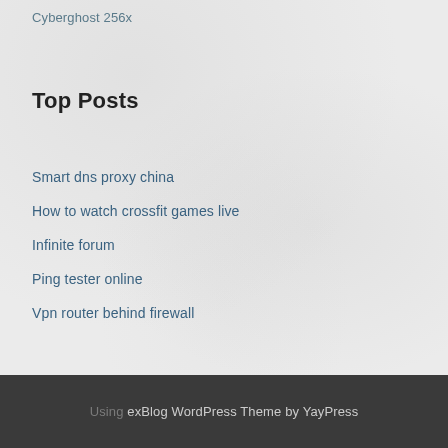Cyberghost 256x
Top Posts
Smart dns proxy china
How to watch crossfit games live
Infinite forum
Ping tester online
Vpn router behind firewall
Using exBlog WordPress Theme by YayPress